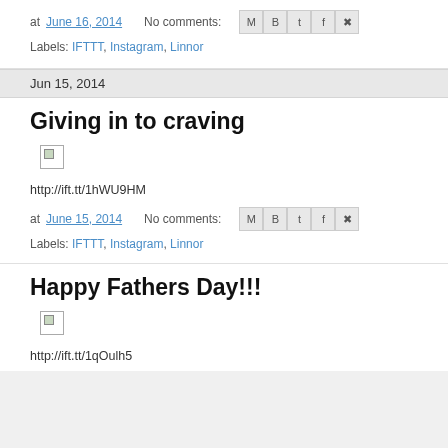at June 16, 2014   No comments:  [share icons]
Labels: IFTTT, Instagram, Linnor
Jun 15, 2014
Giving in to craving
[Figure (photo): Broken image placeholder]
http://ift.tt/1hWU9HM
at June 15, 2014   No comments:  [share icons]
Labels: IFTTT, Instagram, Linnor
Happy Fathers Day!!!
[Figure (photo): Broken image placeholder]
http://ift.tt/1qOulh5